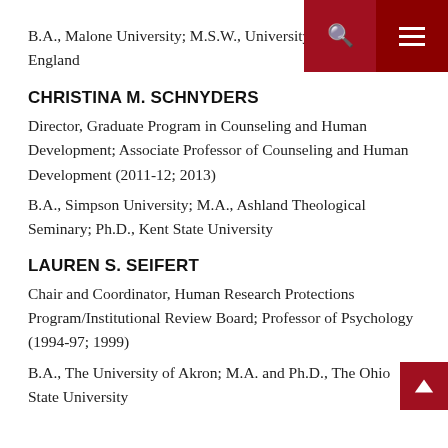B.A., Malone University; M.S.W., University of England
CHRISTINA M. SCHNYDERS
Director, Graduate Program in Counseling and Human Development; Associate Professor of Counseling and Human Development (2011-12; 2013)
B.A., Simpson University; M.A., Ashland Theological Seminary; Ph.D., Kent State University
LAUREN S. SEIFERT
Chair and Coordinator, Human Research Protections Program/Institutional Review Board; Professor of Psychology (1994-97; 1999)
B.A., The University of Akron; M.A. and Ph.D., The Ohio State University